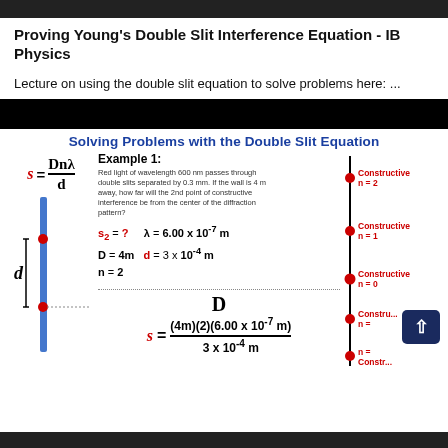Proving Young's Double Slit Interference Equation - IB Physics
Lecture on using the double slit equation to solve problems here: ...
[Figure (schematic): Diagram titled 'Solving Problems with the Double Slit Equation' showing the formula s = Dn lambda / d, an example problem with red light of wavelength 600 nm through double slits separated by 0.3mm, slit diagram with labels d and D, variables s2=?, lambda=6.00x10^-7 m, D=4m, d=3x10^-4 m, n=2, and solution s = (4m)(2)(6.00 x 10^-7 m) / (3 x 10^-4 m), with constructive interference points labeled n=2, n=1, n=0, n=-1, n=-2 on the right.]